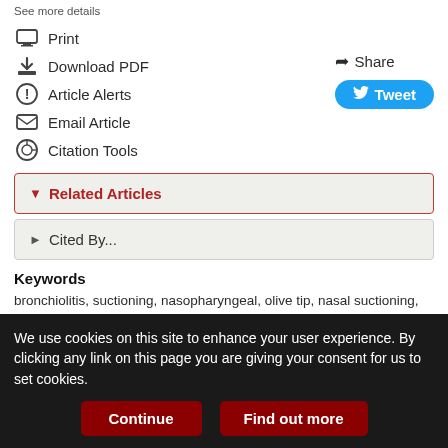See more details
Print
Download PDF
Article Alerts
Email Article
Citation Tools
Share
Tweet
Related Articles
Cited By...
Keywords
bronchiolitis, suctioning, nasopharyngeal, olive tip, nasal suctioning,
We use cookies on this site to enhance your user experience. By clicking any link on this page you are giving your consent for us to set cookies.
Continue
Find out more